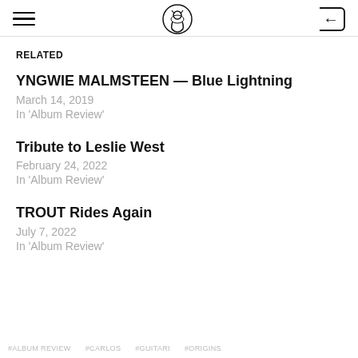Navigation header with hamburger menu, logo, and login icon
RELATED
YNGWIE MALMSTEEN — Blue Lightning
March 14, 2019
In 'Album Review'
Tribute to Leslie West
February 24, 2022
In 'Album Review'
TROUT Rides Again
July 7, 2022
In 'Album Review'
#ALBUM REVIEW   #CARLOS   #GUITARI   #ORIGINS